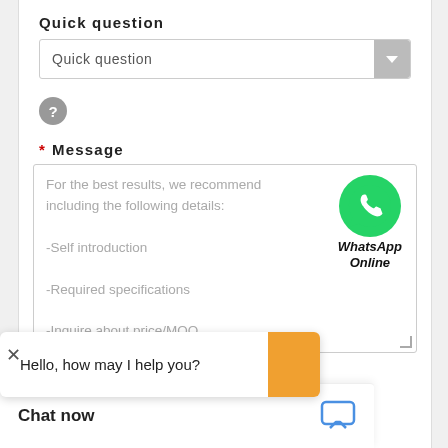Quick question
[Figure (screenshot): Dropdown field labeled 'Quick question' with a gray dropdown arrow button]
[Figure (screenshot): Gray circular help icon with question mark]
* Message
For the best results, we recommend including the following details:
-Self introduction
-Required specifications
-Inquire about price/MOQ
[Figure (logo): WhatsApp green circular logo icon with text 'WhatsApp Online' below]
Hello, how may I help you?
Chat now